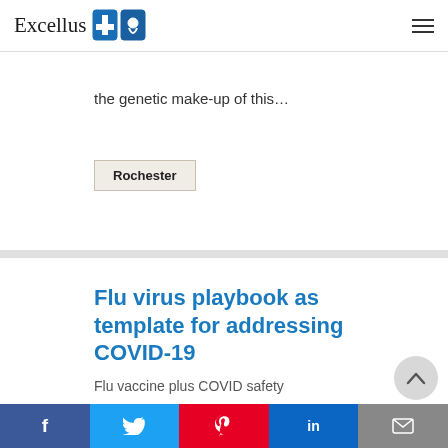Excellus BlueCross BlueShield
the genetic make-up of this…
Rochester
Flu virus playbook as template for addressing COVID-19
Flu vaccine plus COVID safety